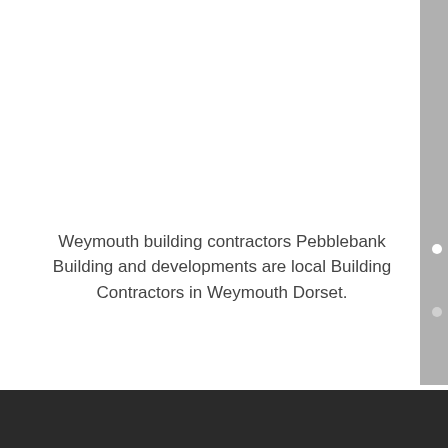Weymouth building contractors Pebblebank Building and developments are local Building Contractors in Weymouth Dorset.